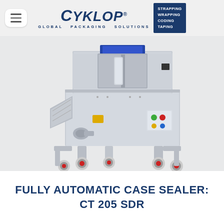[Figure (logo): Cyklop logo with tagline GLOBAL PACKAGING SOLUTIONS and badge showing STRAPPING WRAPPING CODING TAPING]
[Figure (photo): Fully automatic case sealer machine CT 205 SDR, gray industrial machine on wheels with control panel]
FULLY AUTOMATIC CASE SEALER: CT 205 SDR